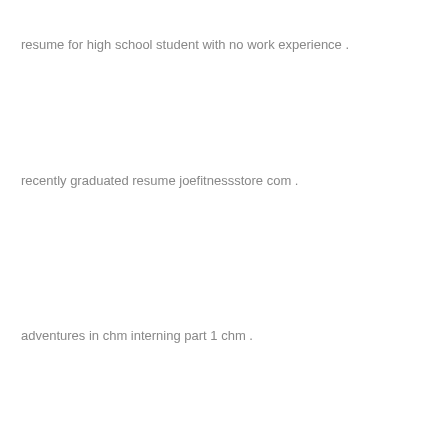resume for high school student with no work experience .
recently graduated resume joefitnessstore com .
adventures in chm interning part 1 chm .